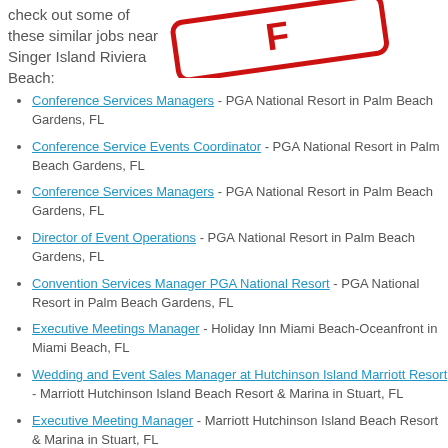check out some of these similar jobs near Singer Island Riviera Beach:
[Figure (illustration): Red stamp or seal graphic (partially visible) in upper right area]
Conference Services Managers - PGA National Resort in Palm Beach Gardens, FL
Conference Service Events Coordinator - PGA National Resort in Palm Beach Gardens, FL
Conference Services Managers - PGA National Resort in Palm Beach Gardens, FL
Director of Event Operations - PGA National Resort in Palm Beach Gardens, FL
Convention Services Manager PGA National Resort - PGA National Resort in Palm Beach Gardens, FL
Executive Meetings Manager - Holiday Inn Miami Beach-Oceanfront in Miami Beach, FL
Wedding and Event Sales Manager at Hutchinson Island Marriott Resort - Marriott Hutchinson Island Beach Resort & Marina in Stuart, FL
Executive Meeting Manager - Marriott Hutchinson Island Beach Resort & Marina in Stuart, FL